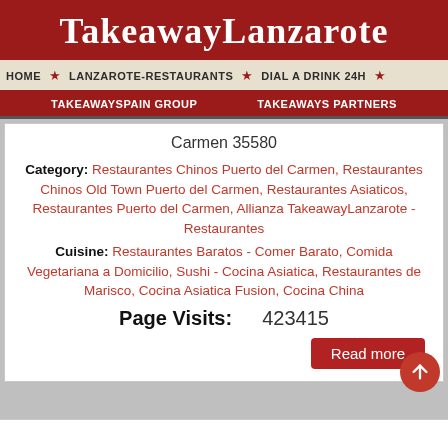TakeawayLanzarote
HOME ★ LANZAROTE-RESTAURANTS ★ DIAL A DRINK 24H ★
TAKEAWAYSPAIN GROUP   TAKEAWAYS PARTNERS
Carmen 35580
Category: Restaurantes Chinos Puerto del Carmen, Restaurantes Chinos Old Town Puerto del Carmen, Restaurantes Asiaticos, Restaurantes Puerto del Carmen, Allianza TakeawayLanzarote - Restaurantes
Cuisine: Restaurantes Baratos - Comer Barato, Comida Vegetariana a Domicilio, Sushi - Cocina Asiatica, Restaurantes de Marisco, Cocina Asiatica Fusion, Cocina China
Page Visits: 423415